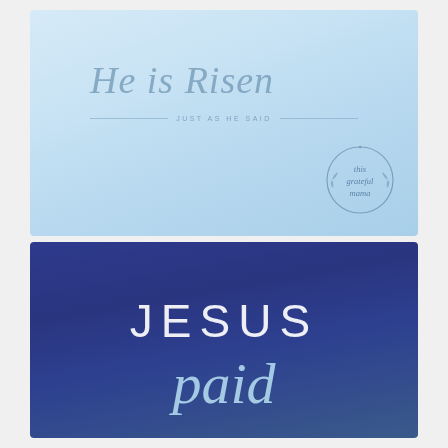[Figure (illustration): Light blue gradient background card with cursive script text 'He is Risen' and subtitle 'JUST AS HE SAID' with horizontal rules on each side, and a circular watermark logo reading 'this grateful mama' in lower right corner]
[Figure (illustration): Dark blue/navy gradient background card with large uppercase sans-serif text 'JESUS' and cursive script text 'paid' below it in light blue]